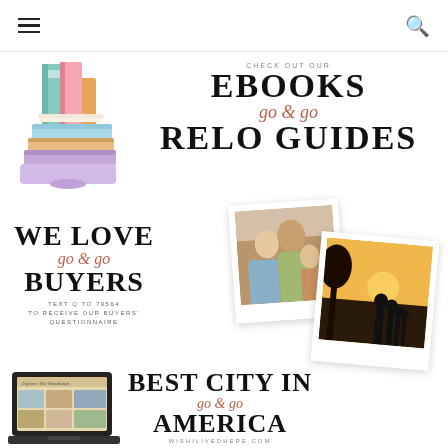Navigation bar with hamburger menu and search icon
[Figure (illustration): Colorful stacked books illustration]
CHECK OUT OUR
EBOOKS
go & go
RELO GUIDES
[Figure (photo): Two polaroid-style photos: one of a family indoors, one of a family silhouette at sunset]
WE LOVE
go & go
BUYERS
TEXT Q TO 79564
TO RECEIVE OUR BUYERS'
QUESTIONNAIRE
[Figure (screenshot): Laptop showing 'Explore The Woodlands' website]
BEST CITY IN
go & go
AMERICA
WISHILIVEDHERE.COM